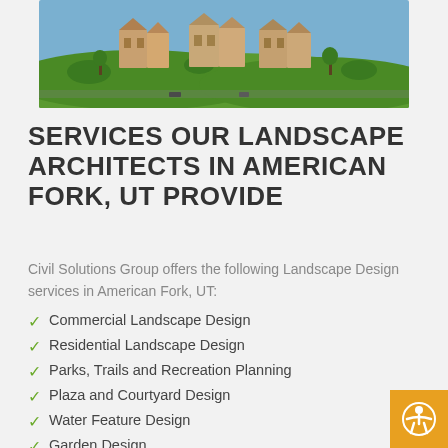[Figure (photo): Aerial/elevated view of residential buildings with landscaped green lawn in the foreground]
SERVICES OUR LANDSCAPE ARCHITECTS IN AMERICAN FORK, UT PROVIDE
Civil Solutions Group offers the following Landscape Design services in American Fork, UT:
Commercial Landscape Design
Residential Landscape Design
Parks, Trails and Recreation Planning
Plaza and Courtyard Design
Water Feature Design
Garden Design
Landscape Construction Administration